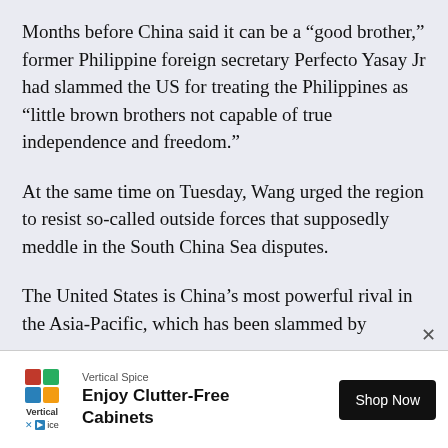Months before China said it can be a “good brother,” former Philippine foreign secretary Perfecto Yasay Jr had slammed the US for treating the Philippines as “little brown brothers not capable of true independence and freedom.”
At the same time on Tuesday, Wang urged the region to resist so-called outside forces that supposedly meddle in the South China Sea disputes.
The United States is China’s most powerful rival in the Asia-Pacific, which has been slammed by
[Figure (other): Advertisement banner for Vertical Spice showing logo, text 'Enjoy Clutter-Free Cabinets' and a 'Shop Now' button]